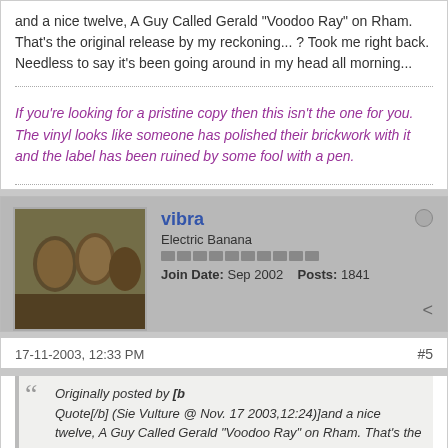and a nice twelve, A Guy Called Gerald &quot;Voodoo Ray&quot; on Rham. That&#39;s the original release by my reckoning... ? Took me right back. Needless to say it&#39;s been going around in my head all morning...
If you're looking for a pristine copy then this isn't the one for you. The vinyl looks like someone has polished their brickwork with it and the label has been ruined by some fool with a pen.
vibra
Electric Banana
Join Date: Sep 2002   Posts: 1841
17-11-2003, 12:33 PM
#5
Originally posted by [b
Quote[/b] (Sie Vulture @ Nov. 17 2003,12:24)]and a nice twelve, A Guy Called Gerald &quot;Voodoo Ray&quot; on Rham. That&#39;s the original release by my reckoning... ? Took me right back. Needless to say it&#39;s been going